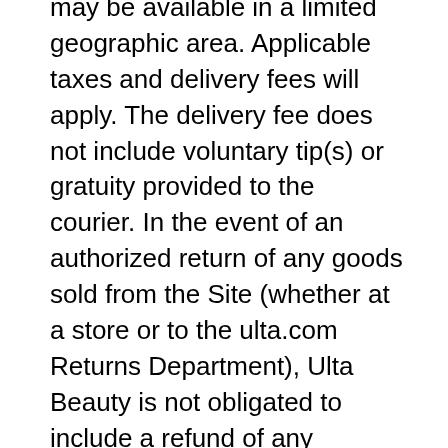may be available in a limited geographic area. Applicable taxes and delivery fees will apply. The delivery fee does not include voluntary tip(s) or gratuity provided to the courier. In the event of an authorized return of any goods sold from the Site (whether at a store or to the ulta.com Returns Department), Ulta Beauty is not obligated to include a refund of any shipping and handling charges or delivery charges or gift wrap charges except when the return is for defective product and Ulta Beauty shall have the option to refund any amount owing to Customer by either crediting the charges and